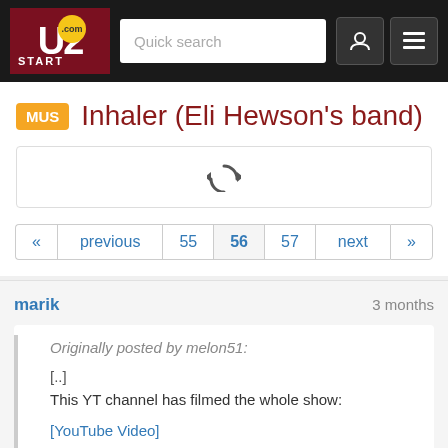[Figure (screenshot): U2start.com website header with logo, search box, and navigation icons]
Inhaler (Eli Hewson's band)
[Figure (other): Loading spinner in a box]
« previous 55 56 57 next »
marik
3 months
Originally posted by melon51:
[..]
This YT channel has filmed the whole show:
[YouTube Video]